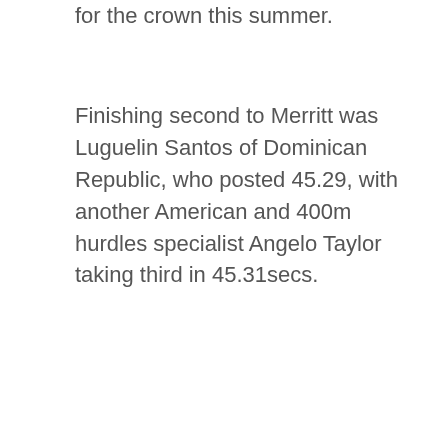for the crown this summer.
Finishing second to Merritt was Luguelin Santos of Dominican Republic, who posted 45.29, with another American and 400m hurdles specialist Angelo Taylor taking third in 45.31secs.